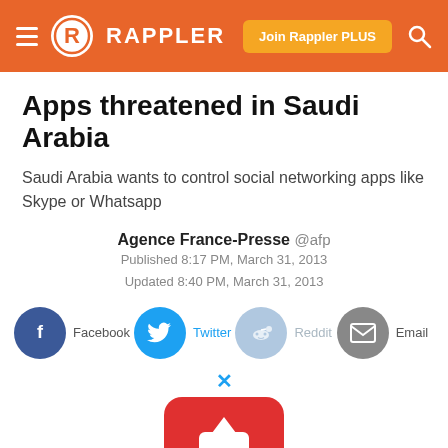Rappler — Join Rappler PLUS
Apps threatened in Saudi Arabia
Saudi Arabia wants to control social networking apps like Skype or Whatsapp
Agence France-Presse @afp
Published 8:17 PM, March 31, 2013
Updated 8:40 PM, March 31, 2013
[Figure (infographic): Social share buttons row: Facebook, Twitter, Reddit, Email]
[Figure (logo): CommuniCart advertisement logo with red shopping cart icon and text: CommuniCart, Community creations, you can add to cart]